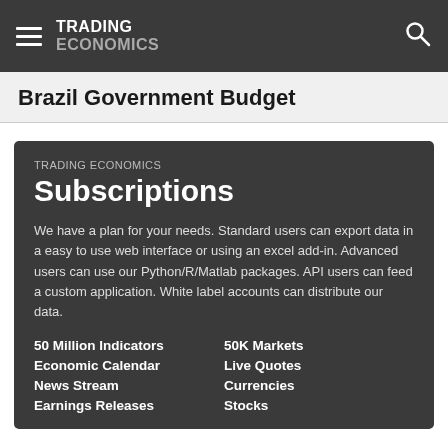TRADING ECONOMICS
Brazil Government Budget
TRADING ECONOMICS Subscriptions
We have a plan for your needs. Standard users can export data in a easy to use web interface or using an excel add-in. Advanced users can use our Python/R/Matlab packages. API users can feed a custom application. White label accounts can distribute our data.
50 Million Indicators
Economic Calendar
News Stream
Earnings Releases
50K Markets
Live Quotes
Currencies
Stocks